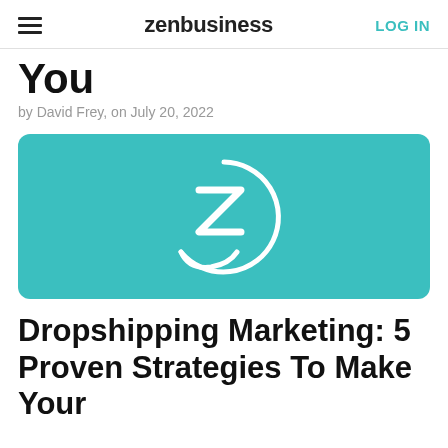zenbusiness  LOG IN
You
by David Frey, on July 20, 2022
[Figure (logo): ZenBusiness teal logo with stylized Z inside a circle on a teal rounded rectangle background]
Dropshipping Marketing: 5 Proven Strategies To Make Your